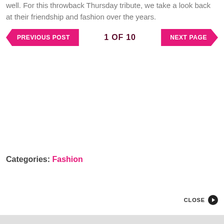well. For this throwback Thursday tribute, we take a look back at their friendship and fashion over the years.
PREVIOUS POST | 1 OF 10 | NEXT PAGE
Categories: Fashion
CLOSE